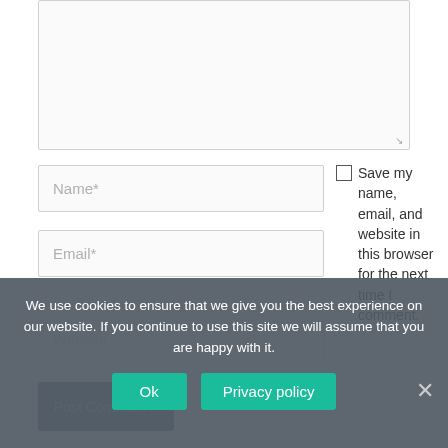[Figure (screenshot): Textarea input box (comment field), empty, with resize handle at bottom-right]
[Figure (screenshot): Name* text input field, placeholder text 'Name*']
Save my name, email, and website in this browser for the next time I comment.
[Figure (screenshot): Email* text input field, placeholder text 'Email*']
[Figure (screenshot): Website text input field (partially visible), placeholder text 'Website']
[Figure (screenshot): Post Comment button (dark blue, partially obscured by overlay)]
We use cookies to ensure that we give you the best experience on our website. If you continue to use this site we will assume that you are happy with it.
Ok
Privacy policy